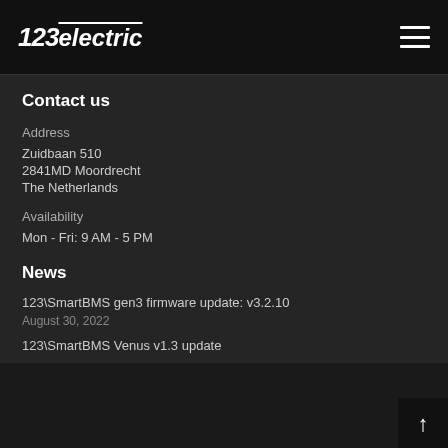123electric
Contact us
Address
Zuidbaan 510
2841MD Moordrecht
The Netherlands
Availability
Mon - Fri: 9 AM - 5 PM
News
123\SmartBMS gen3 firmware update: v3.2.10
August 30, 2022
123\SmartBMS Venus v1.3 update